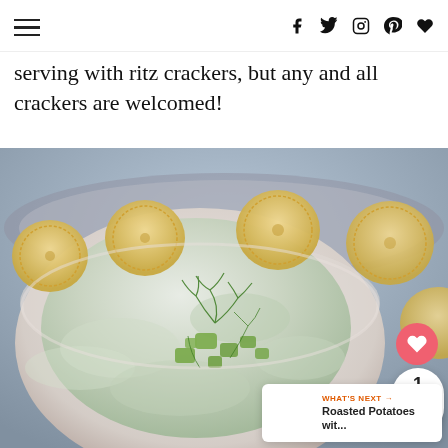Navigation bar with hamburger menu and social icons (f, twitter, instagram, pinterest, heart)
serving with ritz crackers, but any and all crackers are welcomed!
[Figure (photo): Close-up photo of a white bowl filled with creamy dill pickle dip topped with chopped pickles and fresh dill, surrounded by round buttery crackers on a decorative silver tray]
WHAT'S NEXT → Roasted Potatoes wit...